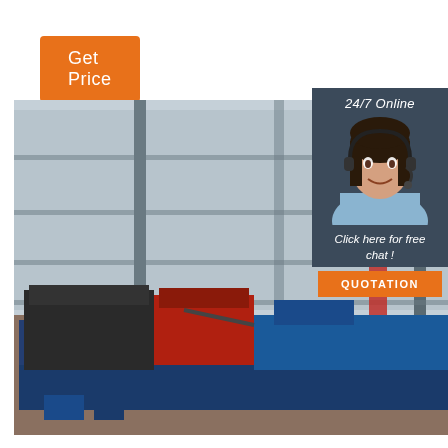Get Price
[Figure (photo): Industrial winch/hoist machinery with diesel engine, blue mechanical components, mounted on steel frame inside a factory warehouse with large windows and steel structure visible in background]
24/7 Online
[Figure (photo): Female customer service agent with headset, smiling, wearing light blue shirt, dark hair]
Click here for free chat !
QUOTATION